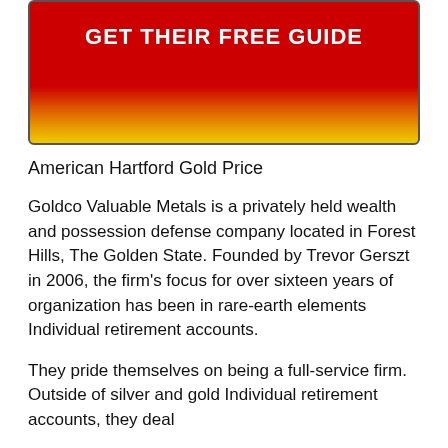[Figure (other): Red and gold gradient banner button with white bold text reading GET THEIR FREE GUIDE]
American Hartford Gold Price
Goldco Valuable Metals is a privately held wealth and possession defense company located in Forest Hills, The Golden State. Founded by Trevor Gerszt in 2006, the firm’s focus for over sixteen years of organization has been in rare-earth elements Individual retirement accounts.
They pride themselves on being a full-service firm. Outside of silver and gold Individual retirement accounts, they deal